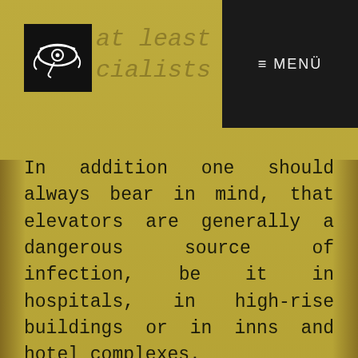at least one doctor or a te
cialists on site
[Figure (logo): Egyptian Eye of Horus logo in white on black square background]
≡ MENÜ
In addition one should always bear in mind, that elevators are generally a dangerous source of infection, be it in hospitals, in high-rise buildings or in inns and hotel complexes.
You should avoid elevators if possible, use them in a targeted manner or, if this is not possible otherwise, equip them with the appropriate disinfectants, such as those